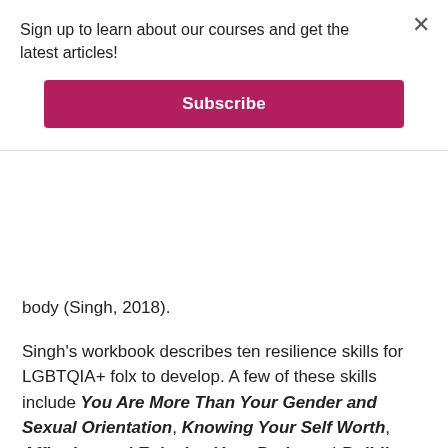Sign up to learn about our courses and get the latest articles!
Subscribe
body (Singh, 2018).
Singh's workbook describes ten resilience skills for LGBTQIA+ folx to develop. A few of these skills include You Are More Than Your Gender and Sexual Orientation, Knowing Your Self Worth, Affirming and Enjoying Your Body, and Building Relationships and Creating Community. Each section offers a resilience exercise to encourage the reader to practice these skills, and many of the practices borrow from cognitive behavioral therapy with an added queer lens. One example is how to use